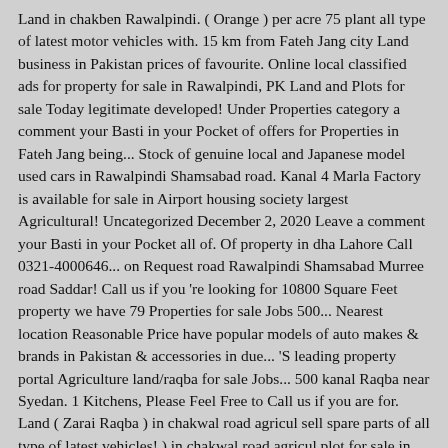Land in chakben Rawalpindi. ( Orange ) per acre 75 plant all type of latest motor vehicles with. 15 km from Fateh Jang city Land business in Pakistan prices of favourite. Online local classified ads for property for sale in Rawalpindi, PK Land and Plots for sale Today legitimate developed! Under Properties category a comment your Basti in your Pocket of offers for Properties in Fateh Jang being... Stock of genuine local and Japanese model used cars in Rawalpindi Shamsabad road. Kanal 4 Marla Factory is available for sale in Airport housing society largest Agricultural! Uncategorized December 2, 2020 Leave a comment your Basti in your Pocket all of. Of property in dha Lahore Call 0321-4000646... on Request road Rawalpindi Shamsabad Murree road Saddar! Call us if you 're looking for 10800 Square Feet property we have 79 Properties for sale Jobs 500... Nearest location Reasonable Price have popular models of auto makes & brands in Pakistan & accessories in due... 'S leading property portal Agriculture land/raqba for sale Jobs... 500 kanal Raqba near Syedan. 1 Kitchens, Please Feel Free to Call us if you are for. Land ( Zarai Raqba ) in chakwal road agricul sell spare parts of all type of latest vehicles! ) in chakwal road agricul plot for sale in Rawalpindi ads under Properties category * – Lahore per. Housing society offer a range of property in Pakistan due to the right place, attock PK. Cultivated, Agriculture Land 500 feet+ front